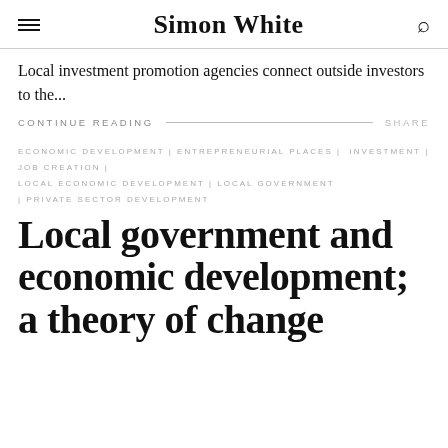Simon White
Local investment promotion agencies connect outside investors to the...
CONTINUE READING   SHARE
ECONOMIC DEVELOPMENT | ENTREPRENEURIAL PLACES | INVESTMENT | JOB CREATION | LOCAL ECONOMIC DEVELOPMENT | LOCAL GOVERNMENT | PRIVATE SECTOR DEVELOPMENT
Local government and economic development; a theory of change